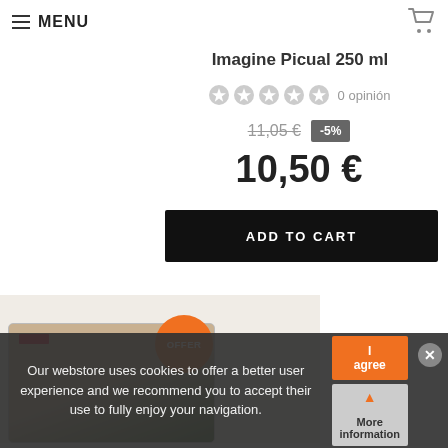≡ MENU
Imagine Picual 250 ml
0 opinión
11,05 €  -5%
10,50 €
ADD TO CART
[Figure (photo): Product package with OFFER badge sticker]
Our webstore uses cookies to offer a better user experience and we recommend you to accept their use to fully enjoy your navigation.